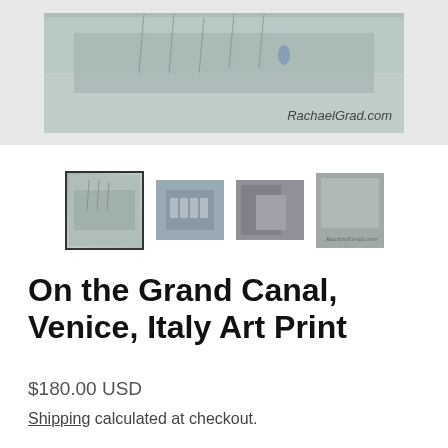[Figure (photo): Main product image showing an art print of Venice Grand Canal scene on a canvas, displayed on a light gray background. Watermark reads RachaelGrad.com in cursive.]
[Figure (photo): Four product thumbnail images: first selected (with border) showing Venice canal print, second showing architectural facade of Venice, third showing close-up of canvas edge/material, fourth showing corner detail of print with watermark.]
On the Grand Canal, Venice, Italy Art Print
$180.00 USD
Shipping calculated at checkout.